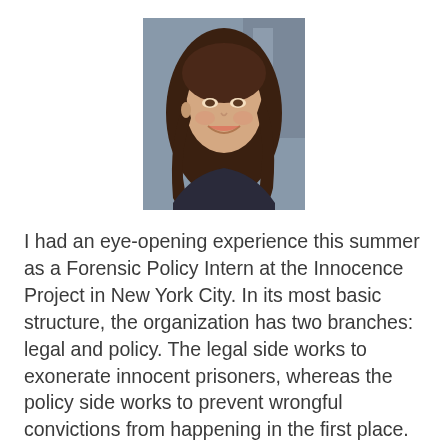[Figure (photo): Portrait photo of a young woman with long brown hair, smiling, in an indoor setting]
I had an eye-opening experience this summer as a Forensic Policy Intern at the Innocence Project in New York City. In its most basic structure, the organization has two branches: legal and policy. The legal side works to exonerate innocent prisoners, whereas the policy side works to prevent wrongful convictions from happening in the first place. My